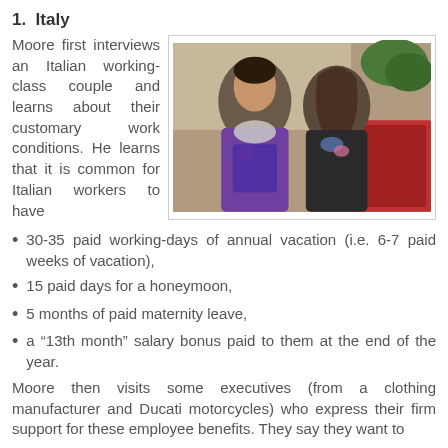1.  Italy
Moore first interviews an Italian working-class couple and learns about their customary work conditions. He learns that it is common for Italian workers to have
[Figure (photo): Photo of an Italian working-class couple, a man in a purple polo shirt with a scarf and a woman in a black sleeveless top, sitting together indoors.]
30-35 paid working-days of annual vacation (i.e. 6-7 paid weeks of vacation),
15 paid days for a honeymoon,
5 months of paid maternity leave,
a “13th month” salary bonus paid to them at the end of the year.
Moore then visits some executives (from a clothing manufacturer and Ducati motorcycles) who express their firm support for these employee benefits. They say they want to